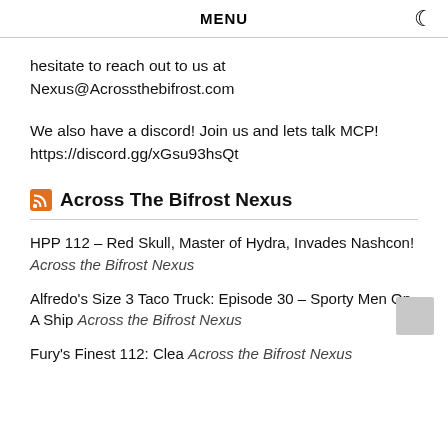MENU
hesitate to reach out to us at Nexus@Acrossthebifrost.com
We also have a discord! Join us and lets talk MCP! https://discord.gg/xGsu93hsQt
Across The Bifrost Nexus
HPP 112 – Red Skull, Master of Hydra, Invades Nashcon! Across the Bifrost Nexus
Alfredo's Size 3 Taco Truck: Episode 30 – Sporty Men On A Ship Across the Bifrost Nexus
Fury's Finest 112: Clea Across the Bifrost Nexus